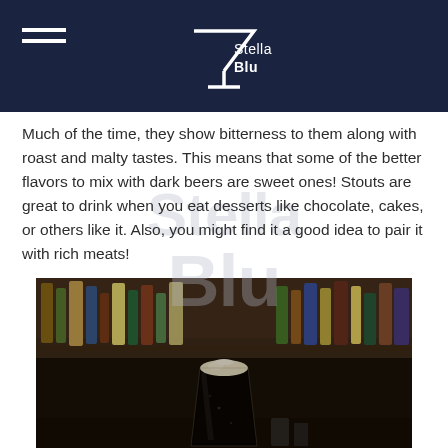Stella Blu
Much of the time, they show bitterness to them along with roast and malty tastes. This means that some of the better flavors to mix with dark beers are sweet ones! Stouts are great to drink when you eat desserts like chocolate, cakes, or others like it. Also, you might find it a good idea to pair it with rich meats!
[Figure (photo): A pint glass of dark stout beer with a cream head, set against a blurred bar background with many liquor bottles on shelves, brick wall visible.]